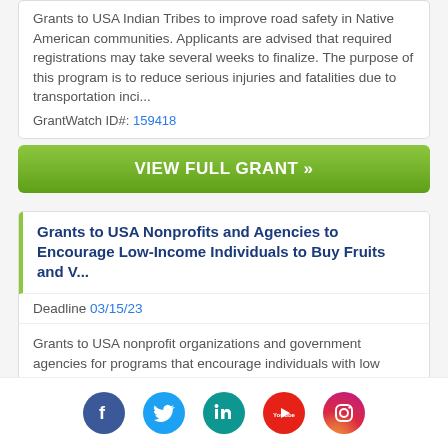Grants to USA Indian Tribes to improve road safety in Native American communities. Applicants are advised that required registrations may take several weeks to finalize. The purpose of this program is to reduce serious injuries and fatalities due to transportation inci...
GrantWatch ID#: 159418
VIEW FULL GRANT »
Grants to USA Nonprofits and Agencies to Encourage Low-Income Individuals to Buy Fruits and V...
Deadline 03/15/23
Grants to USA nonprofit organizations and government agencies for programs that encourage individuals with low income to buy nutritious fruits and vegetables. Applicants are advised that required registrations must be completed prior to
[Figure (infographic): Social media icons row: Facebook (blue circle), Twitter (light blue circle), LinkedIn (teal circle), YouTube (red circle), Instagram (gradient circle)]